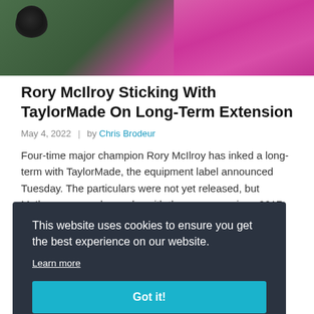[Figure (photo): Top portion of a golf photo showing a player in pink/magenta shirt against green background with what appears to be a golf bag]
Rory McIlroy Sticking With TaylorMade On Long-Term Extension
May 4, 2022  |  by Chris Brodeur
Four-time major champion Rory McIlroy has inked a long-term with TaylorMade, the equipment label announced Tuesday. The particulars were not yet released, but McIlroy — an ambassador with the company since 2017 — expressed his excitement …
This website uses cookies to ensure you get the best experience on our website.
Learn more
Got it!
[Figure (photo): Bottom strip of golf photo showing pink/salmon colored clothing]